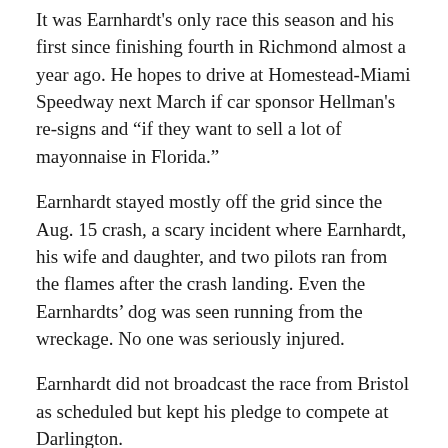It was Earnhardt's only race this season and his first since finishing fourth in Richmond almost a year ago. He hopes to drive at Homestead-Miami Speedway next March if car sponsor Hellman's re-signs and “if they want to sell a lot of mayonnaise in Florida.”
Earnhardt stayed mostly off the grid since the Aug. 15 crash, a scary incident where Earnhardt, his wife and daughter, and two pilots ran from the flames after the crash landing. Even the Earnhardts’ dog was seen running from the wreckage. No one was seriously injured.
Earnhardt did not broadcast the race from Bristol as scheduled but kept his pledge to compete at Darlington.
He had soreness in his back and worried if it might feel worse after 200 miles at the track dubbed “Too Tough to Tame.”